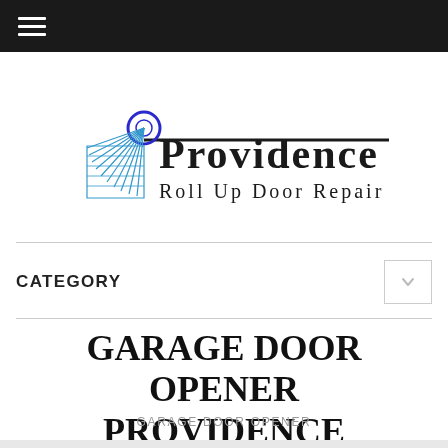Navigation bar with hamburger menu
[Figure (logo): Providence Roll Up Door Repair logo with stylized roll-up door graphic and company name text]
CATEGORY
GARAGE DOOR OPENER PROVIDENCE
GARAGE DOOR OPENER
[Figure (photo): Partial image of garage door opener products at bottom of page]